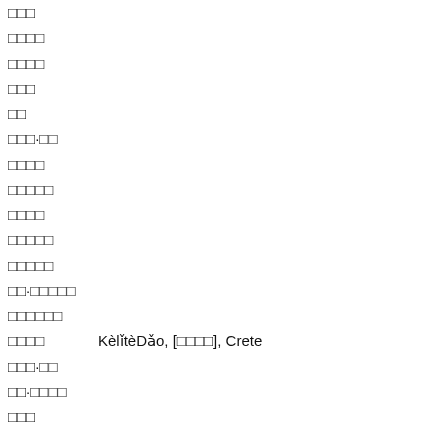□□□
□□□□
□□□□
□□□
□□
□□□·□□
□□□□
□□□□□
□□□□
□□□□□
□□□□□
□□·□□□□□
□□□□□□
□□□□   KèlǐtèDǎo, [□□□□], Crete
□□□·□□
□□·□□□□
□□□